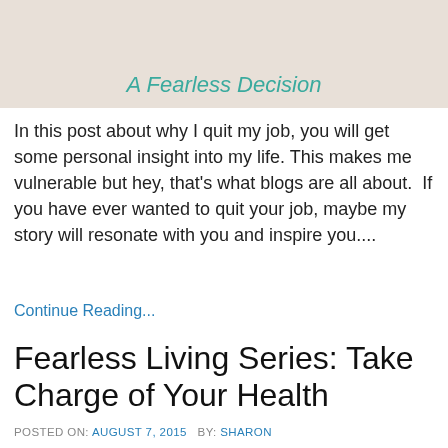[Figure (illustration): Banner image with text 'A Fearless Decision' in teal italic on a light beige/tan background]
In this post about why I quit my job, you will get some personal insight into my life. This makes me vulnerable but hey, that's what blogs are all about.  If you have ever wanted to quit your job, maybe my story will resonate with you and inspire you....
Continue Reading...
Fearless Living Series: Take Charge of Your Health
POSTED ON: AUGUST 7, 2015   BY: SHARON